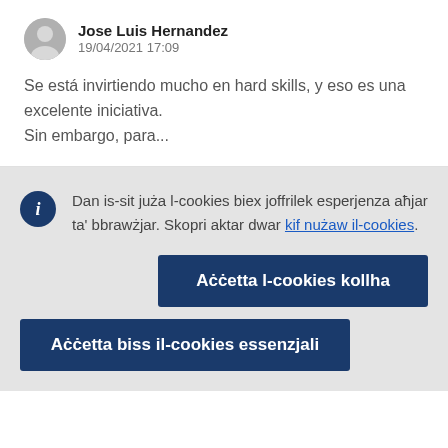Jose Luis Hernandez
19/04/2021 17:09
Se está invirtiendo mucho en hard skills, y eso es una excelente iniciativa.
Sin embargo, para...
Dan is-sit juża l-cookies biex joffrilek esperjenza aħjar ta' bbrawżjar. Skopri aktar dwar kif nużaw il-cookies.
Aċċetta l-cookies kollha
Aċċetta biss il-cookies essenzjali